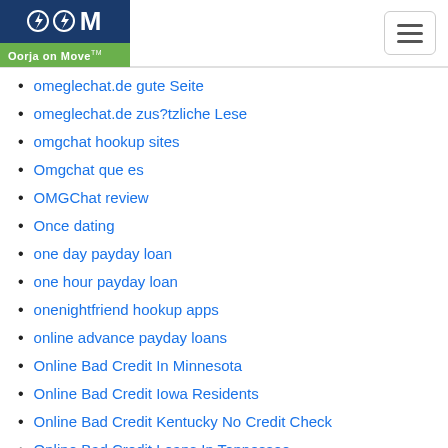Oorja on Move
omeglechat.de gute Seite
omeglechat.de zus?tzliche Lese
omgchat hookup sites
Omgchat que es
OMGChat review
Once dating
one day payday loan
one hour payday loan
onenightfriend hookup apps
online advance payday loans
Online Bad Credit In Minnesota
Online Bad Credit Iowa Residents
Online Bad Credit Kentucky No Credit Check
Online Bad Credit Loans In Tennessee
Online Bad Credit Loans Wisconsin Direct Lenders
Online Bad Credit New Mexico